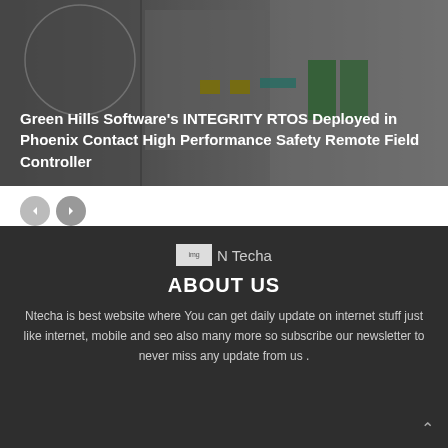[Figure (photo): Industrial control equipment / safety remote field controller hardware with green and yellow components, grey enclosures]
Green Hills Software's INTEGRITY RTOS Deployed in Phoenix Contact High Performance Safety Remote Field Controller
[Figure (other): Navigation pagination arrows: left arrow (grey) and right arrow (darker grey)]
[Figure (logo): N Techa logo — small image placeholder followed by text 'N Techa']
ABOUT US
Ntecha is best website where You can get daily update on internet stuff just like internet, mobile and seo also many more so subscribe our newsletter to never miss any update from us .